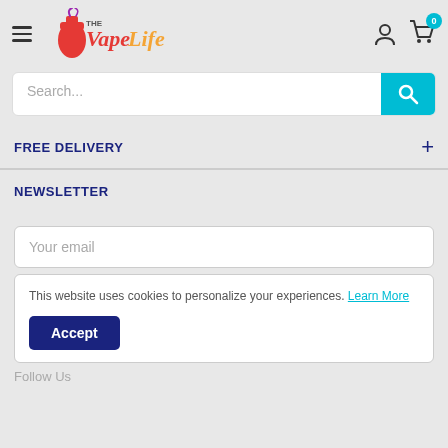[Figure (logo): The Vape Life logo - pink and orange vape bottle with stylized cursive text]
[Figure (screenshot): Search bar with cyan search button]
FREE DELIVERY
NEWSLETTER
Your email
This website uses cookies to personalize your experiences. Learn More
Accept
Follow Us